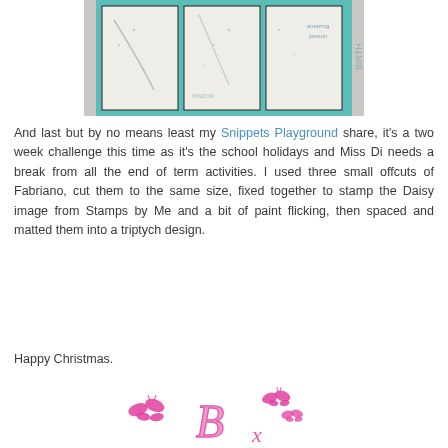[Figure (photo): A photograph of a triptych art piece with three panels mounted on a teal/turquoise mat board. The panels appear to have daisy stamp images and paint flicking. The right panel has text reading 'amazing person' and 'BIRTH' vertically.]
And last but by no means least my Snippets Playground share, it's a two week challenge this time as it's the school holidays and Miss Di needs a break from all the end of term activities. I used three small offcuts of Fabriano, cut them to the same size, fixed together to stamp the Daisy image from Stamps by Me and a bit of paint flicking, then spaced and matted them into a triptych design.
Happy Christmas.
[Figure (illustration): A decorative signature/logo with pink butterflies and a stylized cursive 'B x' in pink script.]